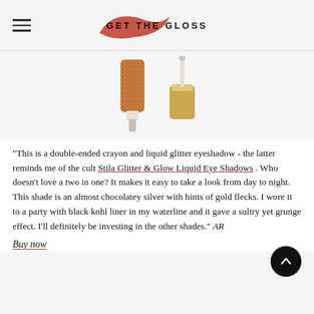GET THE GLOSS
[Figure (photo): Two cosmetic product components: a cylindrical glittery bronze/copper eyeshadow crayon on the left, and a gold-capped liquid eyeshadow applicator with white wand on the right, photographed on a white/light grey background.]
"This is a double-ended crayon and liquid glitter eyeshadow - the latter reminds me of the cult Stila Glitter & Glow Liquid Eye Shadows . Who doesn't love a two in one? It makes it easy to take a look from day to night. This shade is an almost chocolatey silver with hints of gold flecks. I wore it to a party with black kohl liner in my waterline and it gave a sultry yet grunge effect. I'll definitely be investing in the other shades." AR
Buy now